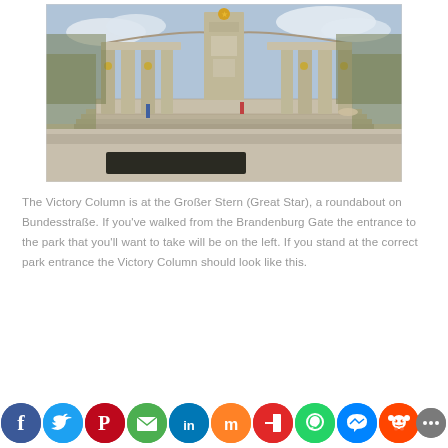[Figure (photo): Photograph of the Soviet War Memorial (Tiergarten) in Berlin, showing a large curved colonnade with tall pillars and a central tower topped with a gold star. Stone steps lead up to the monument. Trees are visible in the background under a partly cloudy sky. A few visitors are seen in front of the monument.]
The Victory Column is at the Großer Stern (Great Star), a roundabout on Bundesstraße. If you've walked from the Brandenburg Gate the entrance to the park that you'll want to take will be on the left. If you stand at the correct park entrance the Victory Column should look like this.
[Figure (infographic): Row of 11 circular social media sharing buttons: Facebook (blue), Twitter (light blue), Pinterest (red), Email (green), LinkedIn (dark blue), Mix (orange-red), Flipboard (red), WhatsApp (green), Messenger (blue), Reddit (orange-red), Share/More (grey)]